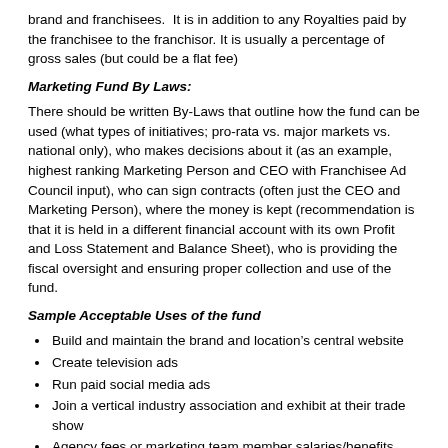brand and franchisees.  It is in addition to any Royalties paid by the franchisee to the franchisor. It is usually a percentage of gross sales (but could be a flat fee)
Marketing Fund By Laws:
There should be written By-Laws that outline how the fund can be used (what types of initiatives; pro-rata vs. major markets vs. national only), who makes decisions about it (as an example, highest ranking Marketing Person and CEO with Franchisee Ad Council input), who can sign contracts (often just the CEO and Marketing Person), where the money is kept (recommendation is that it is held in a different financial account with its own Profit and Loss Statement and Balance Sheet), who is providing the fiscal oversight and ensuring proper collection and use of the fund.
Sample Acceptable Uses of the fund
Build and maintain the brand and location’s central website
Create television ads
Run paid social media ads
Join a vertical industry association and exhibit at their trade show
Agency fees or marketing team member salaries/benefits
Marketing research projects
Unacceptable Uses
Franchise Development advertising